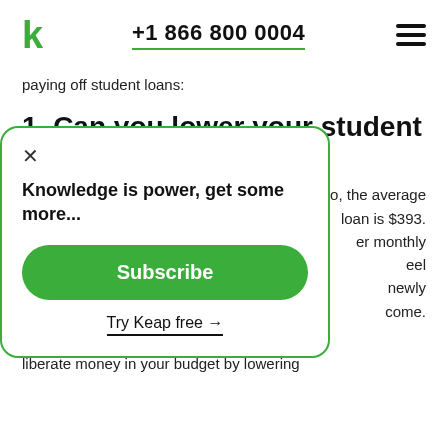k  +1 866 800 0004  ☰
paying off student loans:
1. Can you lower your student loan payments?
[Figure (screenshot): Modal popup with green border showing 'Knowledge is power, get some more...' text, a green Subscribe button, and a 'Try Keap free →' link with underline.]
o, the average loan is $393. er monthly eel newly come.
are ways to liberate money in your budget by lowering